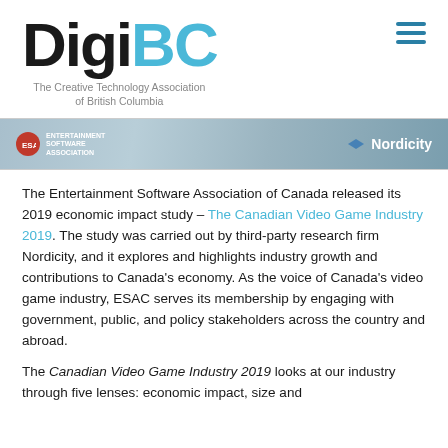DigiBC — The Creative Technology Association of British Columbia
[Figure (photo): Banner image showing Entertainment Software Association of Canada and Nordicity logos on a dark background]
The Entertainment Software Association of Canada released its 2019 economic impact study – The Canadian Video Game Industry 2019. The study was carried out by third-party research firm Nordicity, and it explores and highlights industry growth and contributions to Canada's economy. As the voice of Canada's video game industry, ESAC serves its membership by engaging with government, public, and policy stakeholders across the country and abroad.
The Canadian Video Game Industry 2019 looks at our industry through five lenses: economic impact, size and